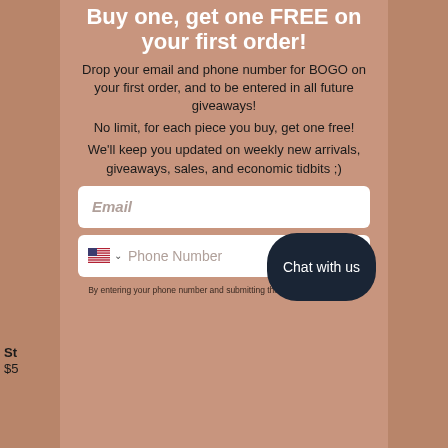Buy one, get one FREE on your first order!
Drop your email and phone number for BOGO on your first order, and to be entered in all future giveaways!
No limit, for each piece you buy, get one free!
We'll keep you updated on weekly new arrivals, giveaways, sales, and economic tidbits ;)
Email
Phone Number
Chat with us
By entering your phone number and submitting this form, you consent to